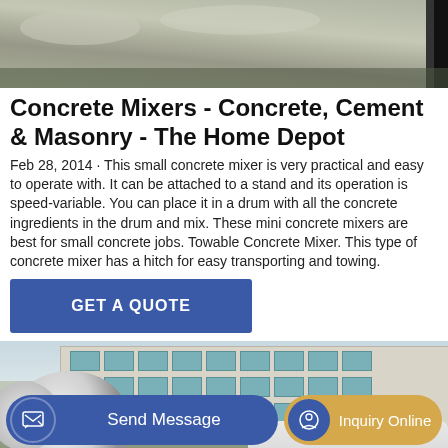[Figure (photo): Top portion of a photo showing a gravel/rocky ground surface, cropped at top]
Concrete Mixers - Concrete, Cement & Masonry - The Home Depot
Feb 28, 2014 · This small concrete mixer is very practical and easy to operate with. It can be attached to a stand and its operation is speed-variable. You can place it in a drum with all the concrete ingredients in the drum and mix. These mini concrete mixers are best for small concrete jobs. Towable Concrete Mixer. This type of concrete mixer has a hitch for easy transporting and towing.
GET A QUOTE
[Figure (photo): Photo of a large concrete mixer truck in front of a multi-story building with many windows, green surroundings]
Send Message
Inquiry Online